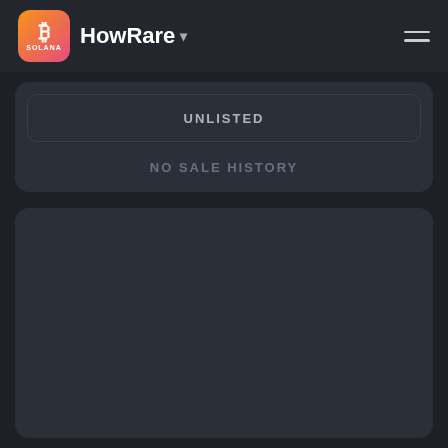HowRare
UNLISTED
NO SALE HISTORY